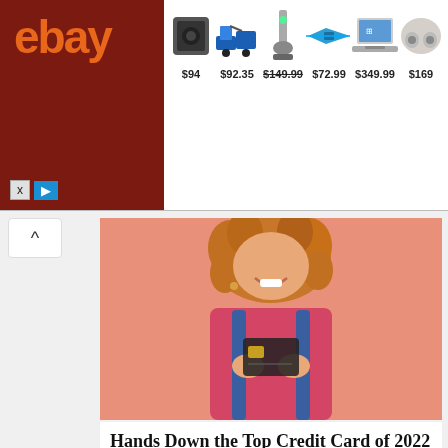[Figure (screenshot): eBay advertisement banner showing logo on dark red background and 6 product items with prices: $94, $92.35, $149.99, $72.99, $349.99, $169]
[Figure (photo): Smiling woman with curly hair wearing pink shirt and denim overalls, holding a dark credit card up near her chin against a pink background]
Hands Down the Top Credit Card of 2022
CompareCredit
[Figure (photo): Two people wearing hairnets and protective gear working outdoors, possibly on solar panels, against a blue sky background]